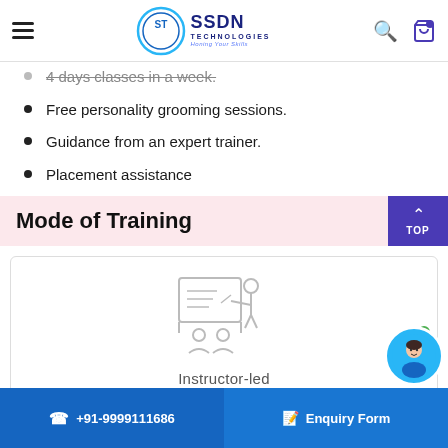SSDN Technologies - Honing Your Skills
4 days classes in a week.
Free personality grooming sessions.
Guidance from an expert trainer.
Placement assistance
Mode of Training
[Figure (illustration): Instructor-led classroom training icon showing a trainer at a board with two students seated]
Instructor-led
+91-9999111686  Enquiry Form